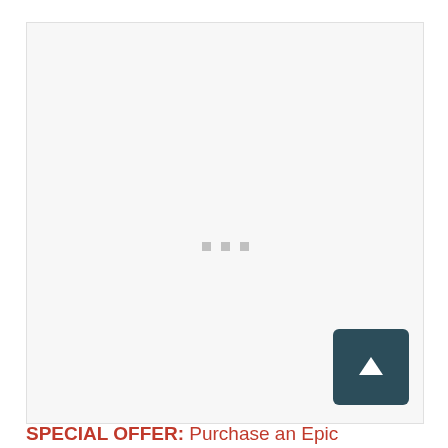[Figure (other): Large light gray rectangular area with a loading spinner (three small gray squares) centered in the middle, indicating an image is loading. A dark teal square button with a white upward arrow is positioned in the bottom-right corner of the box.]
SPECIAL OFFER: Purchase an Epic